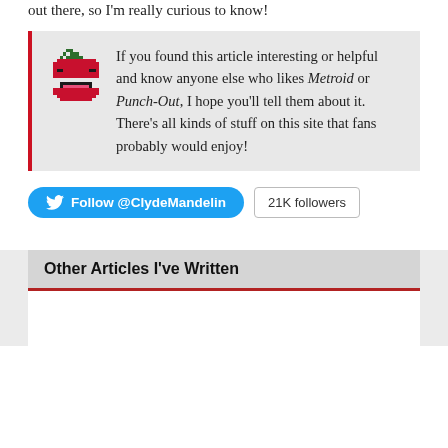out there, so I'm really curious to know!
If you found this article interesting or helpful and know anyone else who likes Metroid or Punch-Out, I hope you'll tell them about it. There's all kinds of stuff on this site that fans probably would enjoy!
Follow @ClydeMandelin  21K followers
Other Articles I've Written